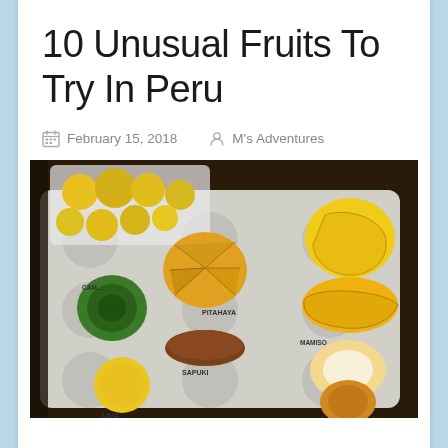10 Unusual Fruits To Try In Peru
February 15, 2018    M's Adventures
[Figure (photo): A photograph of a tray displaying various exotic Peruvian fruits, including pitahaya (dragon fruit), camu camu (green sliced fruit), sapuki, lima, mango, and others, some cut open to show interiors, with labels written on the tray.]